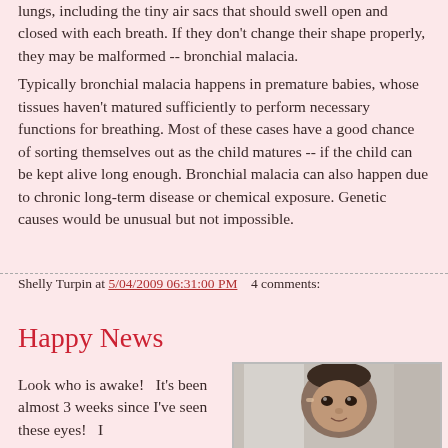lungs, including the tiny air sacs that should swell open and closed with each breath. If they don't change their shape properly, they may be malformed -- bronchial malacia.
Typically bronchial malacia happens in premature babies, whose tissues haven't matured sufficiently to perform necessary functions for breathing. Most of these cases have a good chance of sorting themselves out as the child matures -- if the child can be kept alive long enough. Bronchial malacia can also happen due to chronic long-term disease or chemical exposure. Genetic causes would be unusual but not impossible.
Shelly Turpin at 5/04/2009 06:31:00 PM    4 comments:
Happy News
Look who is awake!  It's been almost 3 weeks since I've seen these eyes!  I
[Figure (photo): Photo of a baby with eyes open, taken indoors near a window]